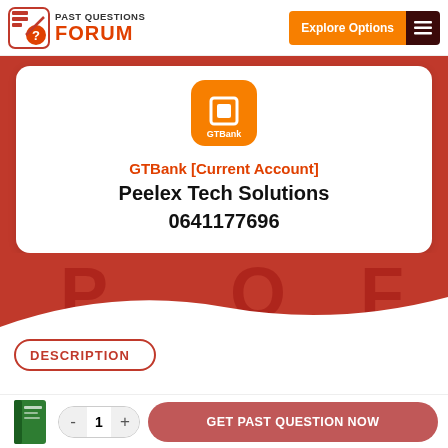Past Questions Forum — Explore Options
[Figure (logo): GTBank app icon — orange rounded square with white square symbol and GTBank text]
GTBank [Current Account]
Peelex Tech Solutions
0641177696
DESCRIPTION
GET PAST QUESTION NOW